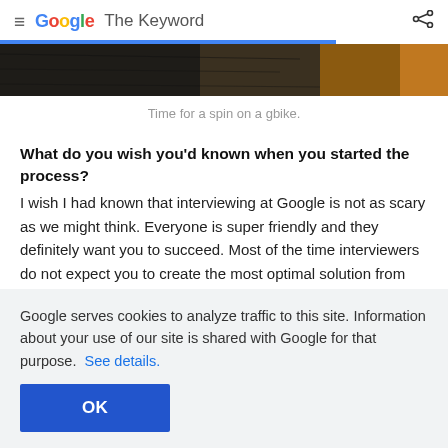≡  Google  The Keyword
[Figure (photo): Partial photo of wooden surface/deck, partially cropped at top]
Time for a spin on a gbike.
What do you wish you'd known when you started the process?
I wish I had known that interviewing at Google is not as scary as we might think. Everyone is super friendly and they definitely want you to succeed. Most of the time interviewers do not expect you to create the most optimal solution from the
Google serves cookies to analyze traffic to this site. Information about your use of our site is shared with Google for that purpose.  See details.
OK